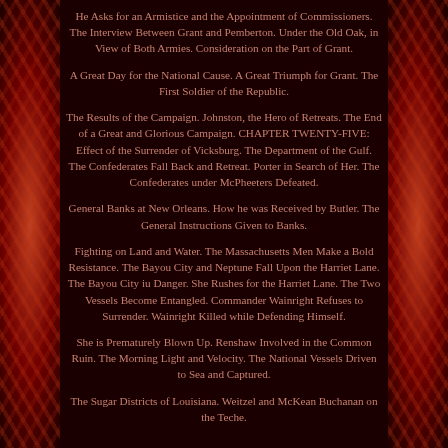He Asks for an Armistice and the Appointment of Commissioners. The Interview Between Grant and Pemberton. Under the Old Oak, in View of Both Armies. Consideration on the Part of Grant.
A Great Day for the National Cause. A Great Triumph for Grant. The First Soldier of the Republic.
The Results of the Campaign. Johnston, the Hero of Retreats. The End of a Great and Glorious Campaign. CHAPTER TWENTY-FIVE: Effect of the Surrender of Vicksburg. The Department of the Gulf. The Confederates Fall Back and Retreat. Porter in Search of Her. The Confederates under McPheeters Defeated.
General Banks at New Orleans. How he was Received by Butler. The General Instructions Given to Banks.
Fighting on Land and Water. The Massachusetts Men Make a Bold Resistance. The Bayou City and Neptune Fall Upon the Harriet Lane. The Bayou City iu Danger. She Rushes for the Harriet Lane. The Two Vessels Become Entangled. Commander Wainright Refuses to Surrender. Wainright Killed while Defending Himself.
She is Prematurely Blown Up. Renshaw Involved in the Common Ruin. The Morning Light and Velocity. The National Vessels Driven to Sea and Captured.
The Sugar Districts of Louisiana. Weitzel and McKean Buchanan on the Teche.